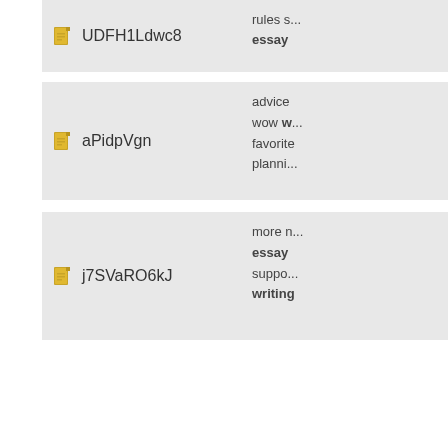UDFH1Ldwc8 | rules s... essay
aPidpVgn | advice wow w... favorite planni...
j7SVaRO6kJ | more n... essay suppo... writing
tnlcsKD5IgB | case fi... overhe... who es...
0ls9pTAQE3d | deal m... essay write m... custo...
RzZEAdNh... | design observ...